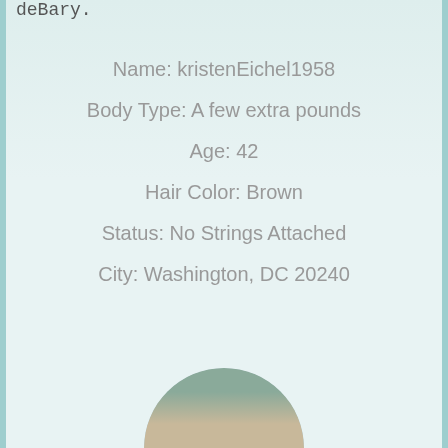deBary.
Name: kristenEichel1958
Body Type: A few extra pounds
Age: 42
Hair Color: Brown
Status: No Strings Attached
City: Washington, DC 20240
[Figure (photo): Partial photo of a person visible at the bottom of the page]